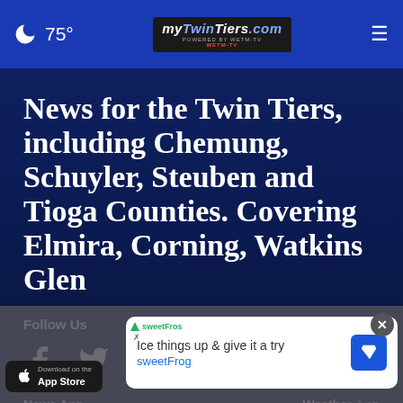🌙 75° | MyTwinTiers.com | ☰
News for the Twin Tiers, including Chemung, Schuyler, Steuben and Tioga Counties. Covering Elmira, Corning, Watkins Glen
Follow Us
[Figure (infographic): Social media icons: Facebook, Twitter, Instagram, YouTube, Email]
News App | Weather App
[Figure (screenshot): App store download buttons for Apple and Google Play; advertisement banner for sweetFrog]